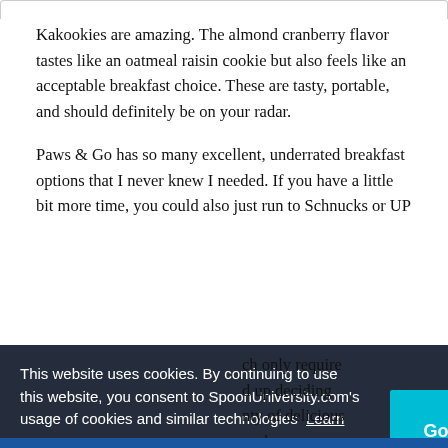Kakookies are amazing. The almond cranberry flavor tastes like an oatmeal raisin cookie but also feels like an acceptable breakfast choice. These are tasty, portable, and should definitely be on your radar.
Paws & Go has so many excellent, underrated breakfast options that I never knew I needed. If you have a little bit more time, you could also just run to Schnucks or UP
[Figure (infographic): Generation Hired advertisement banner: 'Join Generation Hired, your virtual career center.' with logo on purple/pink gradient background.]
ch only require d up deciding nty of delicious ur dorm.
This website uses cookies. By continuing to use this website, you consent to SpoonUniversity.com's usage of cookies and similar technologies Learn more
Got it!